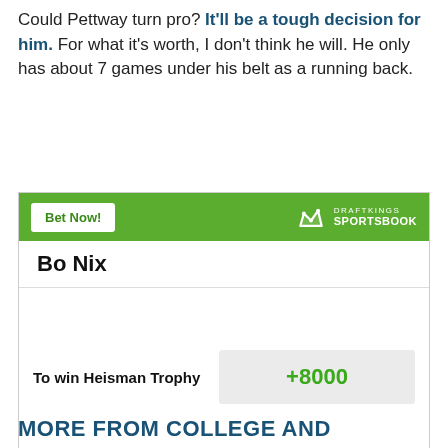Could Pettway turn pro? It'll be a tough decision for him. For what it's worth, I don't think he will. He only has about 7 games under his belt as a running back.
[Figure (other): DraftKings Sportsbook betting widget showing Bo Nix odds to win Heisman Trophy at +8000]
MORE FROM COLLEGE AND